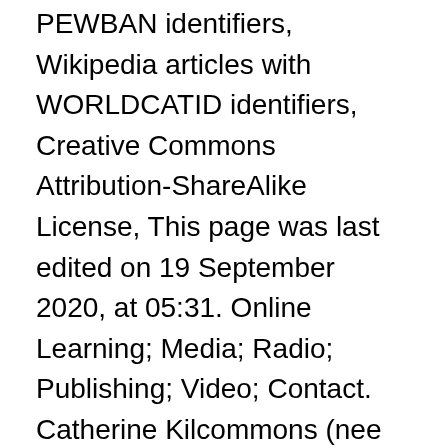PEWBAN identifiers, Wikipedia articles with WORLDCATID identifiers, Creative Commons Attribution-ShareAlike License, This page was last edited on 19 September 2020, at 05:31. Online Learning; Media; Radio; Publishing; Video; Contact. Catherine Kilcommons (nee Flynn), 88, after a long illness, passed away quietly on Jan. 1, 2012 at her home in the Bronx. You can examine and separate out names. Brian Kilcommons Brian Kilcommons is a dog training, author, and dog trainer. William F. Fouhey . We encountered an issue signing you up. William lived in 1920, at address, New Jersey. See also. Become the owner of this obituary to manage the guestbook, edit the notice, and more. KILCOMMONS, Jean D.